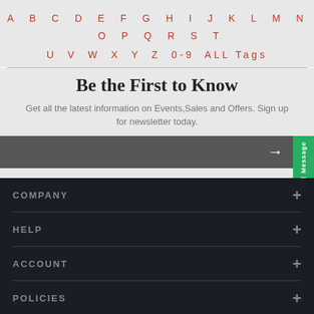A B C D E F G H I J K L M N O P Q R S T U V W X Y Z 0-9 ALL Tags
Be the First to Know
Get all the latest information on Events,Sales and Offers. Sign up for newsletter today.
COMPANY
HELP
ACCOUNT
POLICIES
ORDERS